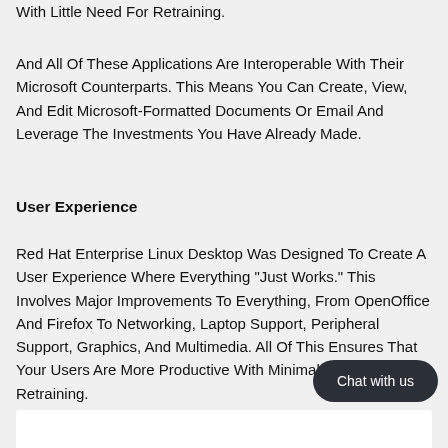With Little Need For Retraining.
And All Of These Applications Are Interoperable With Their Microsoft Counterparts. This Means You Can Create, View, And Edit Microsoft-Formatted Documents Or Email And Leverage The Investments You Have Already Made.
User Experience
Red Hat Enterprise Linux Desktop Was Designed To Create A User Experience Where Everything "Just Works." This Involves Major Improvements To Everything, From OpenOffice And Firefox To Networking, Laptop Support, Peripheral Support, Graphics, And Multimedia. All Of This Ensures That Your Users Are More Productive With Minimal Need For Retraining.